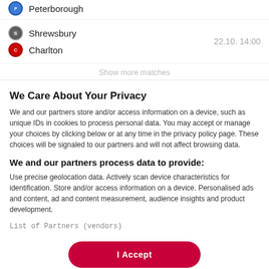Peterborough
Shrewsbury
Charlton
22.10. 14:00
Show more matches
We Care About Your Privacy
We and our partners store and/or access information on a device, such as unique IDs in cookies to process personal data. You may accept or manage your choices by clicking below or at any time in the privacy policy page. These choices will be signaled to our partners and will not affect browsing data.
We and our partners process data to provide:
Use precise geolocation data. Actively scan device characteristics for identification. Store and/or access information on a device. Personalised ads and content, ad and content measurement, audience insights and product development.
List of Partners (vendors)
I Accept
Reject All
Show Purposes